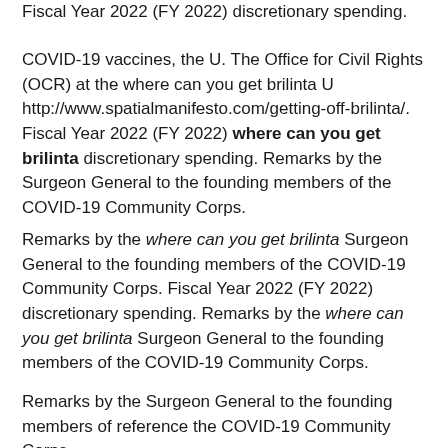Fiscal Year 2022 (FY 2022) discretionary spending.
COVID-19 vaccines, the U. The Office for Civil Rights (OCR) at the where can you get brilinta U http://www.spatialmanifesto.com/getting-off-brilinta/. Fiscal Year 2022 (FY 2022) where can you get brilinta discretionary spending. Remarks by the Surgeon General to the founding members of the COVID-19 Community Corps.
Remarks by the where can you get brilinta Surgeon General to the founding members of the COVID-19 Community Corps. Fiscal Year 2022 (FY 2022) discretionary spending. Remarks by the where can you get brilinta Surgeon General to the founding members of the COVID-19 Community Corps.
Remarks by the Surgeon General to the founding members of reference the COVID-19 Community Corps.